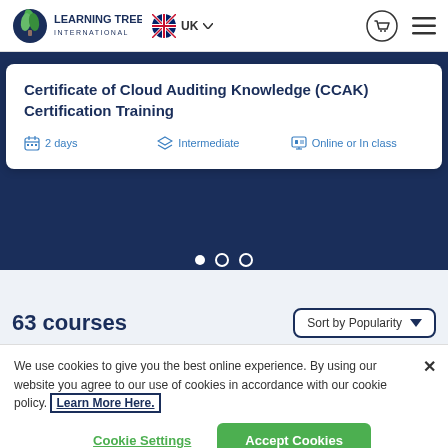[Figure (logo): Learning Tree International logo with green leaf icon and blue text]
UK  [navigation: cart, hamburger menu]
Certificate of Cloud Auditing Knowledge (CCAK) Certification Training
2 days   Intermediate   Online or In class
63 courses
Sort by Popularity
We use cookies to give you the best online experience. By using our website you agree to our use of cookies in accordance with our cookie policy. Learn More Here.
Cookie Settings
Accept Cookies